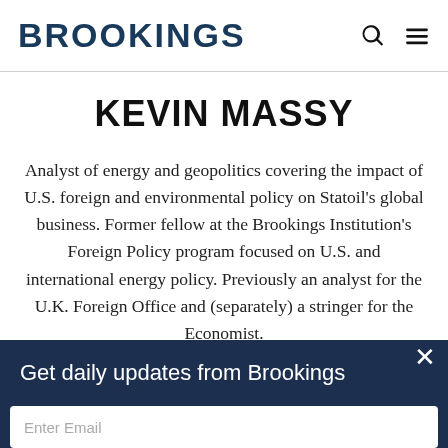BROOKINGS
KEVIN MASSY
Analyst of energy and geopolitics covering the impact of U.S. foreign and environmental policy on Statoil's global business. Former fellow at the Brookings Institution's Foreign Policy program focused on U.S. and international energy policy. Previously an analyst for the U.K. Foreign Office and (separately) a stringer for the Economist.
Get daily updates from Brookings
Enter Email